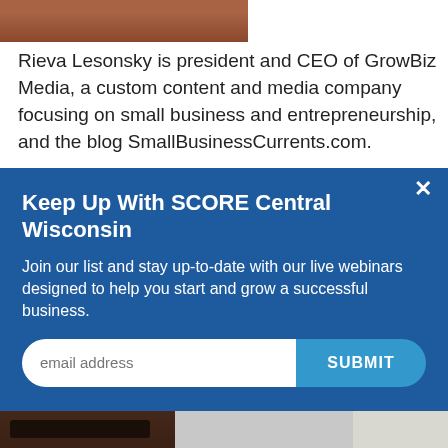[Figure (photo): Partial photo of a person, showing orange/skin tones at top left]
Rieva Lesonsky is president and CEO of GrowBiz Media, a custom content and media company focusing on small business and entrepreneurship, and the blog SmallBusinessCurrents.com.
Keep Up With SCORE Central Wisconsin
Join our list and stay up-to-date with our live webinars designed to help you start and grow a successful business.
[Figure (screenshot): Email subscription modal with input field and SUBMIT button on dark blue background]
[Figure (photo): Bottom strip showing kitchen hood and interior scenes]